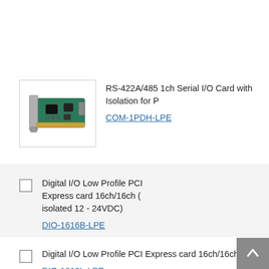[Figure (photo): Small PCB expansion card (RS-422A/485 serial I/O card) with bracket, viewed at angle]
RS-422A/485 1ch Serial I/O Card with Isolation for P
COM-1PDH-LPE
Digital I/O Low Profile PCI Express card 16ch/16ch (isolated 12 - 24VDC)
DIO-1616B-LPE
Digital I/O Low Profile PCI Express card 16ch/16ch (i
DIO-1616L-LPE
Digital I/O PCI Express card bi-directional 32ch (bus LVTTL)